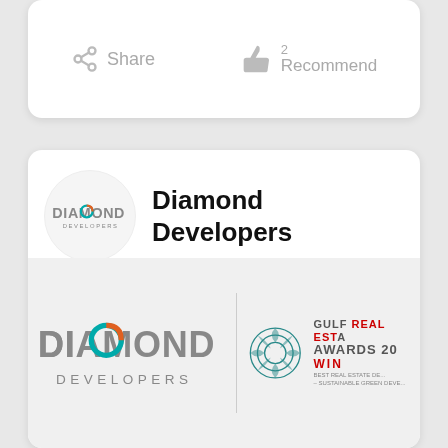[Figure (screenshot): Share and Recommend buttons row on a white card. Share icon on left, thumbs-up with count '2' and 'Recommend' on right.]
Diamond Developers
[Figure (logo): Diamond Developers logo in a circular badge (top), and a banner showing Diamond Developers logo with Gulf Real Estate Awards 20xx Winner text.]